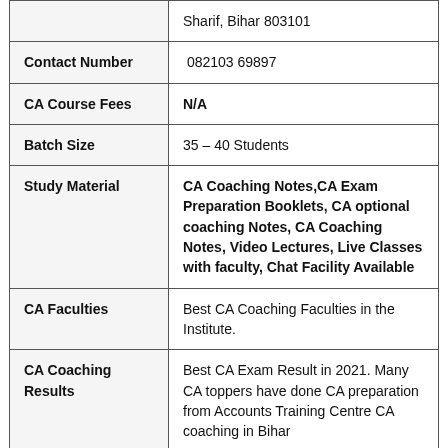| Field | Value |
| --- | --- |
|  | Sharif, Bihar 803101 |
| Contact Number | 082103 69897 |
| CA Course Fees | N/A |
| Batch Size | 35 – 40 Students |
| Study Material | CA Coaching Notes,CA Exam Preparation Booklets, CA optional coaching Notes, CA Coaching Notes, Video Lectures, Live Classes with faculty, Chat Facility Available |
| CA Faculties | Best CA Coaching Faculties in the Institute. |
| CA Coaching Results | Best CA Exam Result in 2021. Many CA toppers have done CA preparation from Accounts Training Centre CA coaching in Bihar |
| CA Coaching | 5 out of 5 stars |